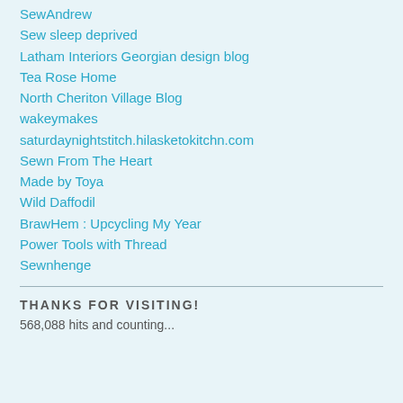SewAndrew
Sew sleep deprived
Latham Interiors Georgian design blog
Tea Rose Home
North Cheriton Village Blog
wakeymakes
saturdaynightstitch.hilasketokitchn.com
Sewn From The Heart
Made by Toya
Wild Daffodil
BrawHem : Upcycling My Year
Power Tools with Thread
Sewnhenge
THANKS FOR VISITING!
568,088 hits and counting...